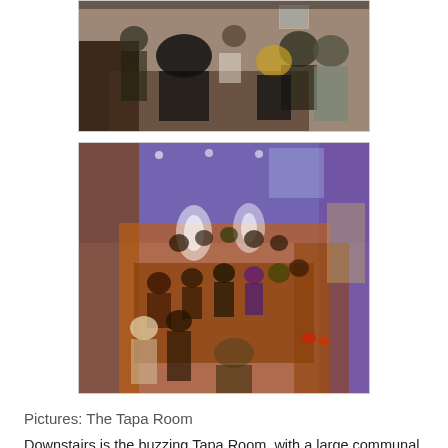[Figure (photo): Restaurant interior with people dining at tables, brick wall background, dark ambient lighting]
[Figure (photo): The Tapa Room interior shot from above, showing communal tables with many diners, purple and orange ambient lighting]
Pictures: The Tapa Room
Downstairs is the buzzing Tapa Room, with a large communal table. Breakfast is very popular here, in addition to the selection of excellent tapas. A long classic wood high counter table stands in the center of the Tapa Room. So lots